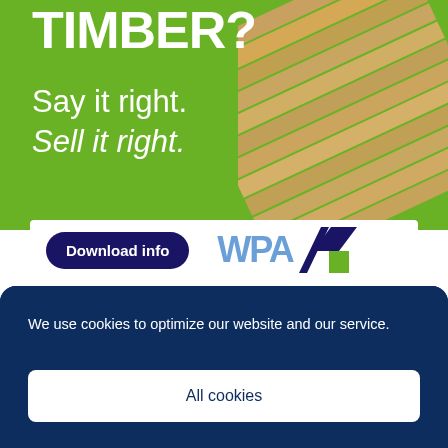[Figure (illustration): Advertisement banner with green background showing text 'TIMBER? Say it right. Sell it right.' with wood planks image on right, a 'Download info' button, and WPA logo]
We use cookies to optimize our website and our service.
All cookies
Deny